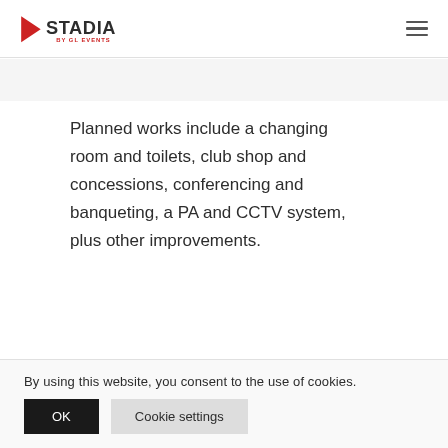[Figure (logo): Stadia by GL Events logo with red triangle/arrow shape and dark grey text]
Planned works include a changing room and toilets, club shop and concessions, conferencing and banqueting, a PA and CCTV system, plus other improvements.
When the project is complete there
By using this website, you consent to the use of cookies.
OK
Cookie settings